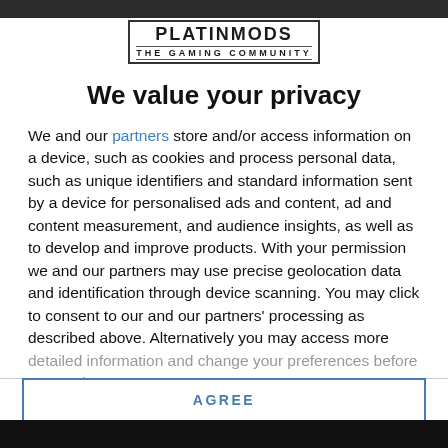[Figure (logo): PLATINMODS THE GAMING COMMUNITY logo with bold outlined text and subtitle]
We value your privacy
We and our partners store and/or access information on a device, such as cookies and process personal data, such as unique identifiers and standard information sent by a device for personalised ads and content, ad and content measurement, and audience insights, as well as to develop and improve products. With your permission we and our partners may use precise geolocation data and identification through device scanning. You may click to consent to our and our partners' processing as described above. Alternatively you may access more detailed information and change your preferences before consenting
AGREE
MORE OPTIONS